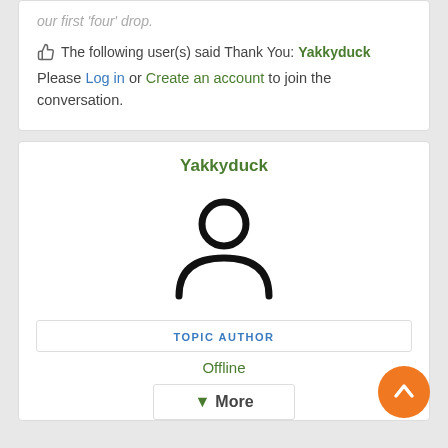our first 'four' drop.
The following user(s) said Thank You: Yakkyduck
Please Log in or Create an account to join the conversation.
Yakkyduck
[Figure (illustration): Generic user avatar icon — circle head above a semicircle body, black outline on white background]
TOPIC AUTHOR
Offline
More